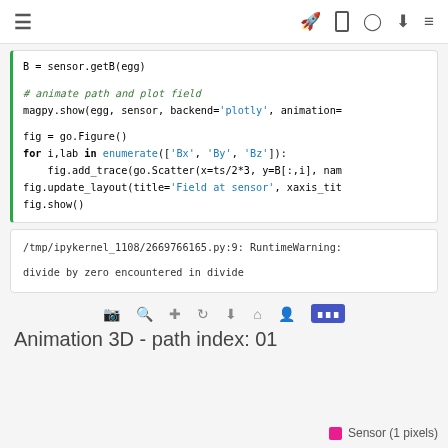≡  🚀  [ ]  ⊙  ⬇  ☰
B = sensor.getB(egg)

# animate path and plot field
magpy.show(egg, sensor, backend='plotly', animation=

fig = go.Figure()
for i,lab in enumerate(['Bx', 'By', 'Bz']):
    fig.add_trace(go.Scatter(x=ts/2*3, y=B[:,i], nam
fig.update_layout(title='Field at sensor', xaxis_tit
fig.show()
/tmp/ipykernel_1108/2669766165.py:9: RuntimeWarning:

divide by zero encountered in divide
[Figure (screenshot): Plotly toolbar icons: camera, zoom, pan, reset, download, home, select]
Animation 3D - path index: 01
Sensor (1 pixels)